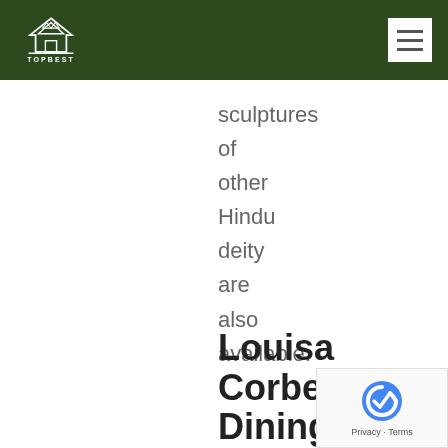TOPBEST
sculptures of other Hindu deity are also available.
Louisa Corbels Dining Table